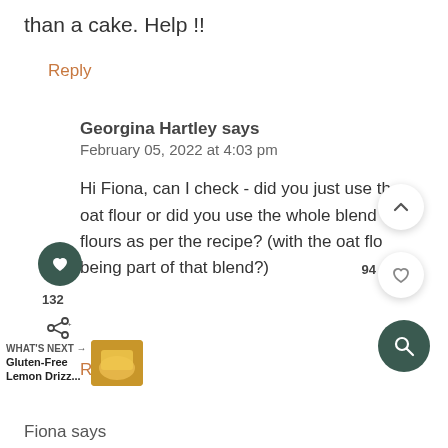than a cake. Help !!
Reply
Georgina Hartley says
February 05, 2022 at 4:03 pm
Hi Fiona, can I check - did you just use the oat flour or did you use the whole blend of flours as per the recipe? (with the oat flour being part of that blend?)
Reply
WHAT'S NEXT → Gluten-Free Lemon Drizz...
Fiona says